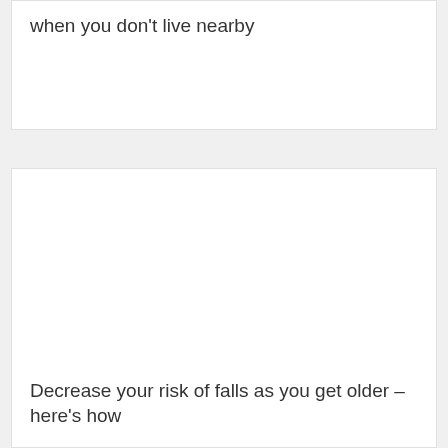when you don't live nearby
[Figure (photo): Image placeholder area for an article about decreasing risk of falls as you get older]
Decrease your risk of falls as you get older – here's how